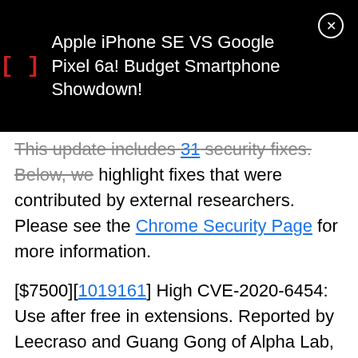[Figure (screenshot): Black notification bar showing an ad for 'Apple iPhone SE VS Google Pixel 6a! Budget Smartphone Showdown!' with a red bracket icon and a close (X) button.]
This update includes 31 security fixes. Below, we highlight fixes that were contributed by external researchers. Please see the Chrome Security Page for more information.
[$7500][1019161] High CVE-2020-6454: Use after free in extensions. Reported by Leecraso and Guang Gong of Alpha Lab, Qihoo 360 on 2019-10-29 [$5000][1043446] High CVE-2020-6423: Use after free in audio. Reported by Anonymous on 2020-01-18